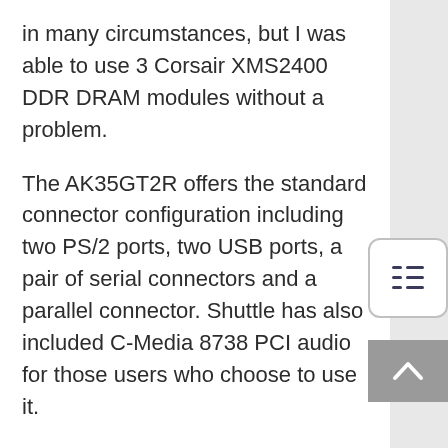in many circumstances, but I was able to use 3 Corsair XMS2400 DDR DRAM modules without a problem.
The AK35GT2R offers the standard connector configuration including two PS/2 ports, two USB ports, a pair of serial connectors and a parallel connector. Shuttle has also included C-Media 8738 PCI audio for those users who choose to use it.
The slot configuration on the motherboard is very good at 6/0/1/0 (PCI/ISA/AGP/CNR). As always, I am pleased to see any motherboard come with the maximum 6 PCI slots. The AGP port is 4x compatible and includes a retention